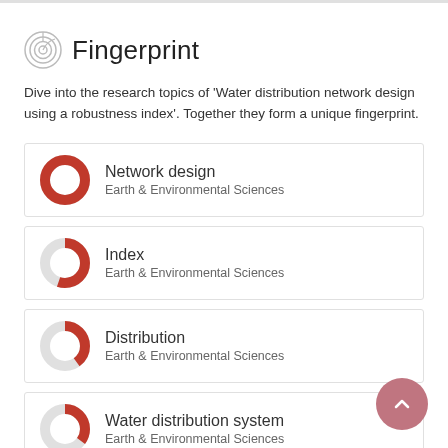Fingerprint
Dive into the research topics of 'Water distribution network design using a robustness index'. Together they form a unique fingerprint.
[Figure (donut-chart): Network design]
Network design
Earth & Environmental Sciences
[Figure (donut-chart): Index]
Index
Earth & Environmental Sciences
[Figure (donut-chart): Distribution]
Distribution
Earth & Environmental Sciences
[Figure (donut-chart): Water distribution system]
Water distribution system
Earth & Environmental Sciences